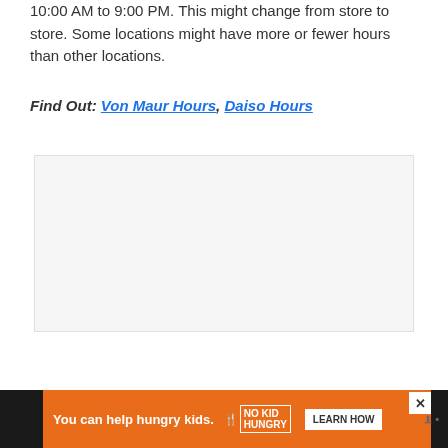10:00 AM to 9:00 PM. This might change from store to store. Some locations might have more or fewer hours than other locations.
Find Out: Von Maur Hours, Daiso Hours
[Figure (other): Gray advertisement placeholder box]
[Figure (other): Advertisement banner: orange background with 'You can help hungry kids.' text and No Kid Hungry logo and LEARN HOW button]